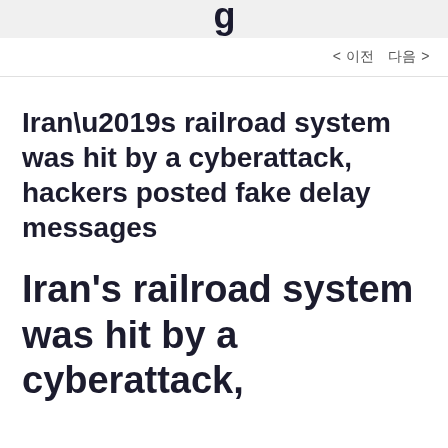g
< 이전  다음 >
Iran’s railroad system was hit by a cyberattack, hackers posted fake delay messages
Iran’s railroad system was hit by a cyberattack